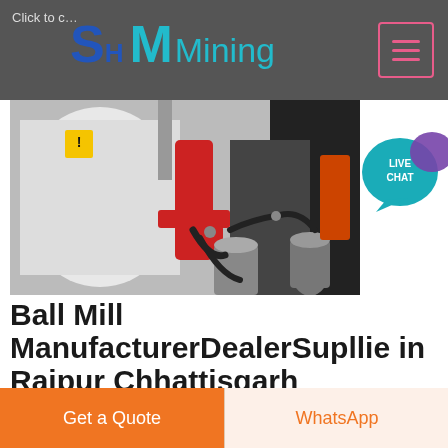Click to c... SH MMining
[Figure (photo): Industrial ball mill equipment with red and grey metal components, hydraulic cylinders, and black hoses/cables against a white machine body.]
[Figure (other): Live Chat speech bubble icon in teal/cyan color with white text LIVE CHAT]
Ball Mill ManufacturerDealerSupllie in Raipur Chhattisgarh
Ball Mill The ball mill is a key equipment to grind
Get a Quote
WhatsApp